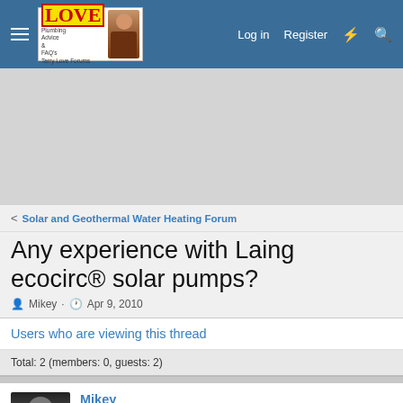Terry Love Forums — Log in  Register
[Figure (other): Advertisement banner placeholder area]
< Solar and Geothermal Water Heating Forum
Any experience with Laing ecocirc® solar pumps?
Mikey · Apr 9, 2010
Users who are viewing this thread
Total: 2 (members: 0, guests: 2)
Mikey
Aspiring Old Fart, EE, computer & networking geek